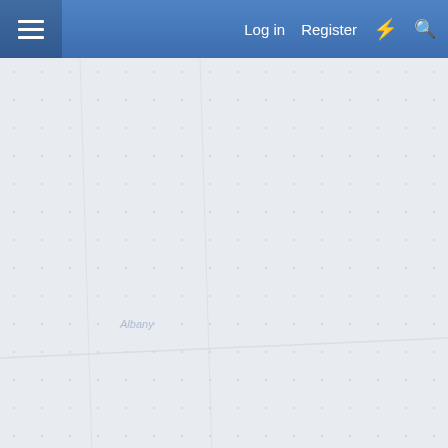Log in  Register
[Figure (map): Light blue-grey map background with faint dot texture pattern]
Report Ad
◄◄  ◄ Prev  2 of 3  Next ►  ►►
Report Ad
Pack the Perfect School Lunch  Wegmans